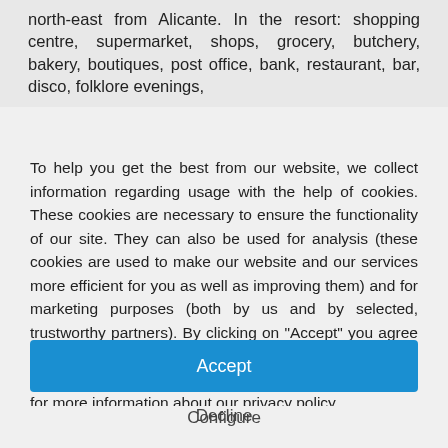north-east from Alicante. In the resort: shopping centre, supermarket, shops, grocery, butchery, bakery, boutiques, post office, bank, restaurant, bar, disco, folklore evenings,
To help you get the best from our website, we collect information regarding usage with the help of cookies. These cookies are necessary to ensure the functionality of our site. They can also be used for analysis (these cookies are used to make our website and our services more efficient for you as well as improving them) and for marketing purposes (both by us and by selected, trustworthy partners). By clicking on "Accept" you agree to the use of all cookies. If you choose not to, you can select the cookies you are happy to use here. Click here for more information about our privacy policy.
Accept
Decline
Configure